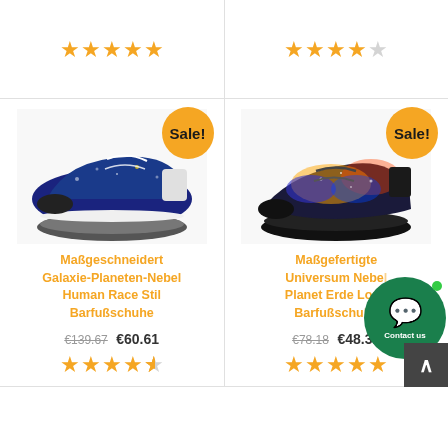[Figure (photo): Left column top card showing 5-star rating (partially visible product card)]
[Figure (photo): Right column top card showing 4-star rating (partially visible product card)]
[Figure (photo): Left main product: blue galaxy-themed sneaker with Sale! badge and white laces]
Maßgeschneidert Galaxie-Planeten-Nebel Human Race Stil Barfußschuhe
€139.67 €60.61
4.5 star rating
[Figure (photo): Right main product: dark galaxy/universe themed sneaker with Sale! badge]
Maßgefertigte Universum Nebel Planet Erde Long Barfußschuhe
€78.18 €48.31
5 star rating
Contact us